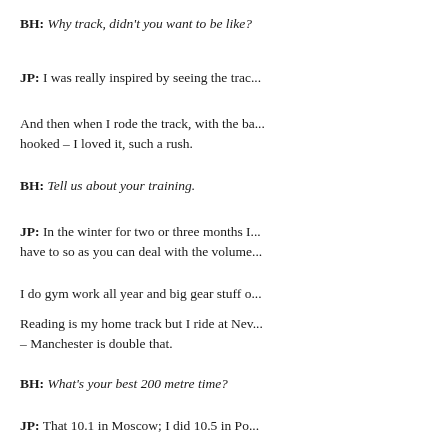BH: Why track, didn't you want to be like?
JP: I was really inspired by seeing the trac...
And then when I rode the track, with the ba... hooked – I loved it, such a rush.
BH: Tell us about your training.
JP: In the winter for two or three months I... have to so as you can deal with the volume...
I do gym work all year and big gear stuff o...
Reading is my home track but I ride at Nev... – Manchester is double that.
BH: What's your best 200 metre time?
JP: That 10.1 in Moscow; I did 10.5 in Po... came back and that was better ride given th...
BH: Who's your role model?
JP: Chris Hoy, he's my main inspiration, w... what motivated me to get into track racin...